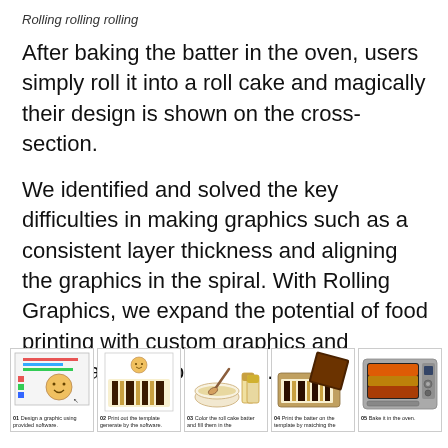Rolling rolling rolling
After baking the batter in the oven, users simply roll it into a roll cake and magically their design is shown on the cross-section.
We identified and solved the key difficulties in making graphics such as a consistent layer thickness and aligning the graphics in the spiral. With Rolling Graphics, we expand the potential of food printing with custom graphics and potentially, custom tastes.
[Figure (infographic): Five-step illustration showing the roll cake design process: 01 Design a graphic using provided software. 02 Print out the template generate by the software. 03 Color the roll cake batter and fill them in the [template]. 04 Print the batter on the template by matching the [colors]. 05 Bake it in the oven.]
01 Design a graphic using provided software.  02 Print out the template generate by the software.  03 Color the roll cake batter and fill them in the  04 Print the batter on the template by matching the  05 Bake it in the oven.